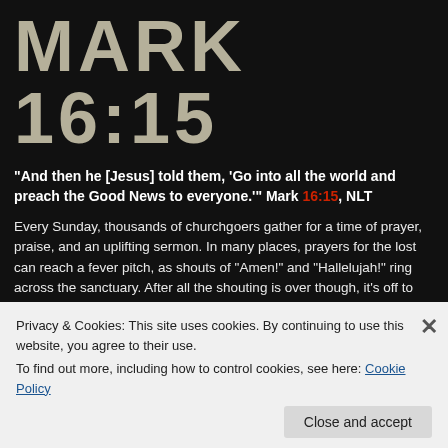MARK  16:15
“And then he [Jesus] told them, ‘Go into all the world and preach the Good News to everyone.’” Mark 16:15, NLT
Every Sunday, thousands of churchgoers gather for a time of prayer, praise, and an uplifting sermon. In many places, prayers for the lost can reach a fever pitch, as shouts of “Amen!” and “Hallelujah!” ring across the sanctuary. After all the shouting is over though, it’s off to lunch, to the mall, or back home to enjoy the rest of the day and get ready for the week ahead.
We certainly should pray for the unsaved, and pray often. But we can’t stop there. We also have to go. In this hard hitting, raw message—simply titled GO
[partial overlapping text with cookie banner]
Privacy & Cookies: This site uses cookies. By continuing to use this website, you agree to their use.
To find out more, including how to control cookies, see here: Cookie Policy
Close and accept